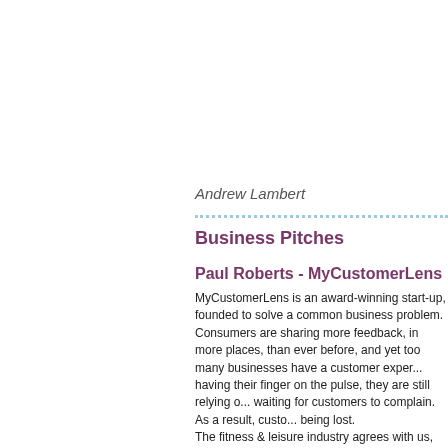Andrew Lambert
Business Pitches
Paul Roberts - MyCustomerLens
MyCustomerLens is an award-winning start-up, founded to solve a common business problem. Consumers are sharing more feedback, in more places, than ever before, and yet too many businesses have a customer experience problem. Despite thinking they have their finger on the pulse, they are still relying on old-fashioned methods and waiting for customers to complain. As a result, customer insight is being lost.
The fitness & leisure industry agrees with us, and many of you are talking about MyCustomerLens and how we can solve this problem. Last year we won an Innovation in Research award and are part of PwC's Scale-up programme. Co-founders...